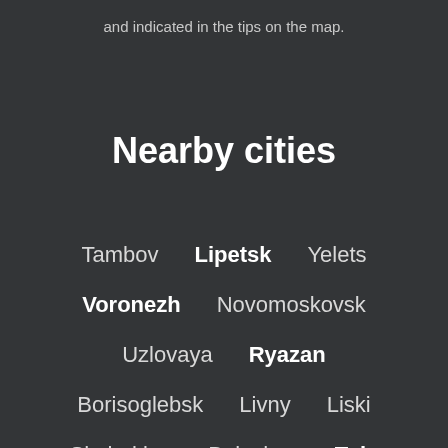and indicated in the tips on the map.
Nearby cities
Tambov   Lipetsk   Yelets
Voronezh   Novomoskovsk
Uzlovaya   Ryazan
Borisoglebsk   Livny   Liski
Shchekino   Balashov   Tula